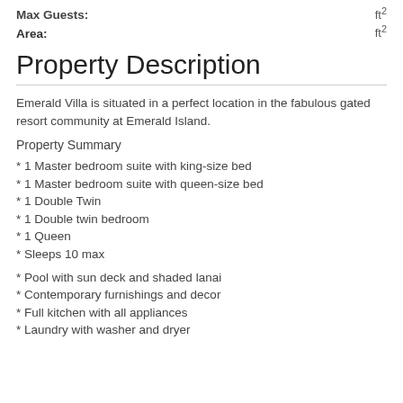Max Guests: ft²
Area: ft²
Property Description
Emerald Villa is situated in a perfect location in the fabulous gated resort community at Emerald Island.
Property Summary
* 1 Master bedroom suite with king-size bed
* 1 Master bedroom suite with queen-size bed
* 1 Double Twin
* 1 Double twin bedroom
* 1 Queen
* Sleeps 10 max
* Pool with sun deck and shaded lanai
* Contemporary furnishings and decor
* Full kitchen with all appliances
* Laundry with washer and dryer